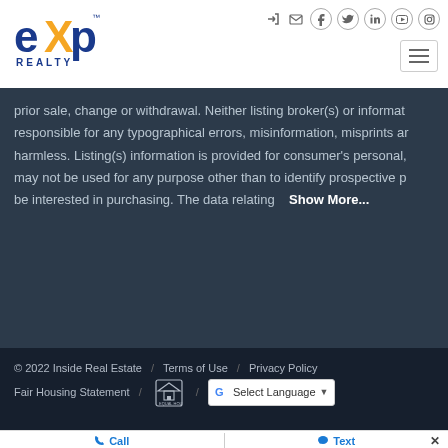[Figure (logo): eXp Realty logo with orange X and blue text]
prior sale, change or withdrawal. Neither listing broker(s) or informat... responsible for any typographical errors, misinformation, misprints ar... harmless. Listing(s) information is provided for consumer's personal,... may not be used for any purpose other than to identify prospective p... be interested in purchasing. The data relating   Show More...
© 2022 Inside Real Estate / Terms of Use / Privacy Policy / Fair Housing Statement / Select Language
Call  |  Text  ×